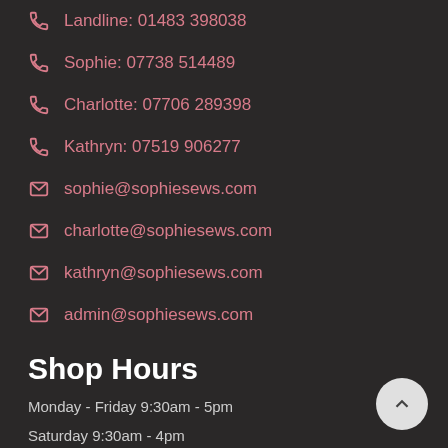Landline: 01483 398038
Sophie: 07738 514489
Charlotte: 07706 289398
Kathryn: 07519 906277
sophie@sophiesews.com
charlotte@sophiesews.com
kathryn@sophiesews.com
admin@sophiesews.com
Shop Hours
Monday - Friday 9:30am - 5pm
Saturday 9:30am - 4pm
Business Hours